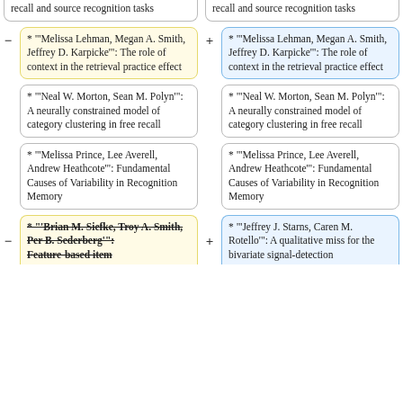recall and source recognition tasks (left column, top partial)
recall and source recognition tasks (right column, top partial)
* "'Melissa Lehman, Megan A. Smith, Jeffrey D. Karpicke'": The role of context in the retrieval practice effect (yellow, left)
* "'Melissa Lehman, Megan A. Smith, Jeffrey D. Karpicke'": The role of context in the retrieval practice effect (blue, right)
* "'Neal W. Morton, Sean M. Polyn'": A neurally constrained model of category clustering in free recall (left)
* "'Neal W. Morton, Sean M. Polyn'": A neurally constrained model of category clustering in free recall (right)
* "'Melissa Prince, Lee Averell, Andrew Heathcote'": Fundamental Causes of Variability in Recognition Memory (left)
* "'Melissa Prince, Lee Averell, Andrew Heathcote'": Fundamental Causes of Variability in Recognition Memory (right)
* "'Brian M. Siefke, Troy A. Smith, Per B. Sederberg'": Feature-based item (yellow, strikethrough, partial)
* "'Jeffrey J. Starns, Caren M. Rotello'": A qualitative miss for the bivariate signal-detection (blue, partial)